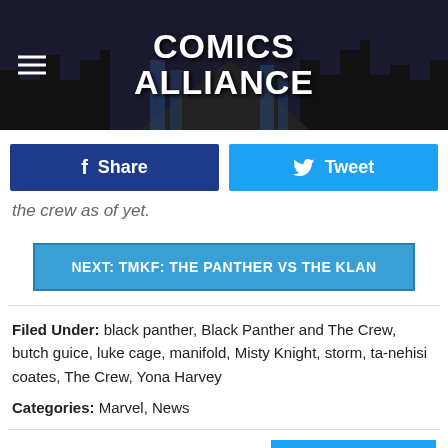COMICS ALLIANCE
the crew as of yet.
NEXT: TMKF: THE PANTHER VS THE KLAN
Filed Under: black panther, Black Panther and The Crew, butch guice, luke cage, manifold, Misty Knight, storm, ta-nehisi coates, The Crew, Yona Harvey
Categories: Marvel, News
Comments